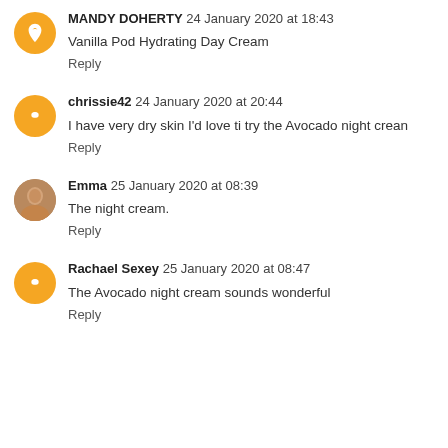MANDY DOHERTY 24 January 2020 at 18:43
Vanilla Pod Hydrating Day Cream
Reply
chrissie42 24 January 2020 at 20:44
I have very dry skin I'd love ti try the Avocado night crean
Reply
Emma 25 January 2020 at 08:39
The night cream.
Reply
Rachael Sexey 25 January 2020 at 08:47
The Avocado night cream sounds wonderful
Reply